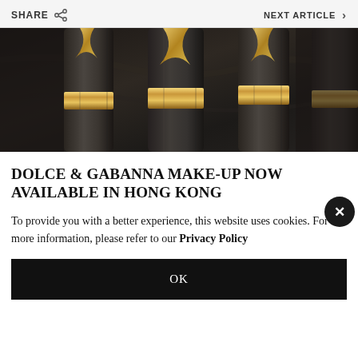SHARE   NEXT ARTICLE >
[Figure (photo): Close-up photo of gold and dark metallic makeup product caps/tubes with angular gold embellishments against a dark marble background]
DOLCE & GABANNA MAKE-UP NOW AVAILABLE IN HONG KONG
To provide you with a better experience, this website uses cookies. For more information, please refer to our Privacy Policy
OK